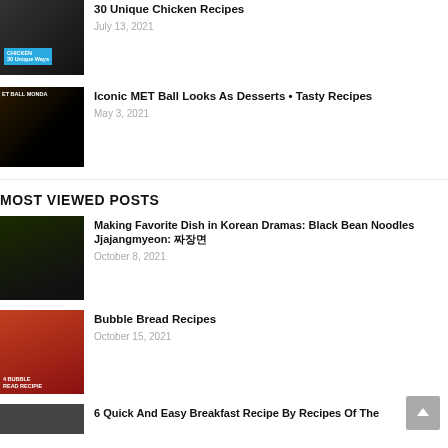[Figure (photo): Thumbnail for 30 Unique Chicken Recipes post with chicken label]
30 Unique Chicken Recipes
July 13, 2021
[Figure (photo): Thumbnail for Iconic MET Ball Looks As Desserts post]
Iconic MET Ball Looks As Desserts • Tasty Recipes
May 3, 2021
MOST VIEWED POSTS
[Figure (photo): Thumbnail for Black Bean Noodles Jjajangmyeon post]
Making Favorite Dish in Korean Dramas: Black Bean Noodles Jjajangmyeon: 짜장면
October 8, 2021
[Figure (photo): Thumbnail for Bubble Bread Recipes post with 4 Bubble Bread Recipes label]
Bubble Bread Recipes
October 15, 2021
[Figure (photo): Thumbnail for 6 Quick And Easy Breakfast Recipe post, partially visible]
6 Quick And Easy Breakfast Recipe By Recipes Of The